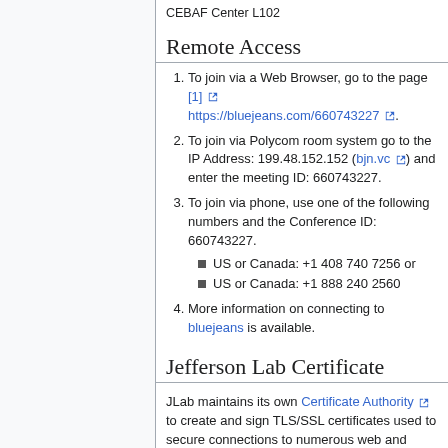CEBAF Center L102
Remote Access
To join via a Web Browser, go to the page [1] https://bluejeans.com/660743227.
To join via Polycom room system go to the IP Address: 199.48.152.152 (bjn.vc) and enter the meeting ID: 660743227.
To join via phone, use one of the following numbers and the Conference ID: 660743227.
US or Canada: +1 408 740 7256 or
US or Canada: +1 888 240 2560
More information on connecting to bluejeans is available.
Jefferson Lab Certificate
JLab maintains its own Certificate Authority to create and sign TLS/SSL certificates used to secure connections to numerous web and